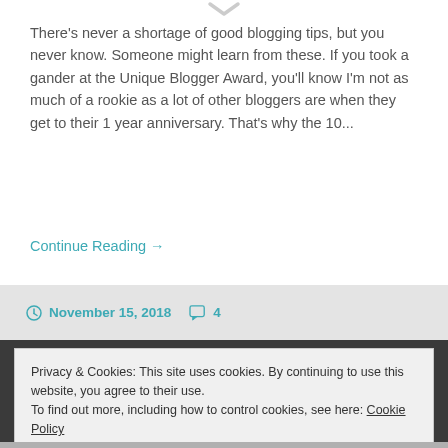There's never a shortage of good blogging tips, but you never know. Someone might learn from these. If you took a gander at the Unique Blogger Award, you'll know I'm not as much of a rookie as a lot of other bloggers are when they get to their 1 year anniversary. That's why the 10...
Continue Reading →
November 15, 2018   4
Privacy & Cookies: This site uses cookies. By continuing to use this website, you agree to their use.
To find out more, including how to control cookies, see here: Cookie Policy
Close and accept